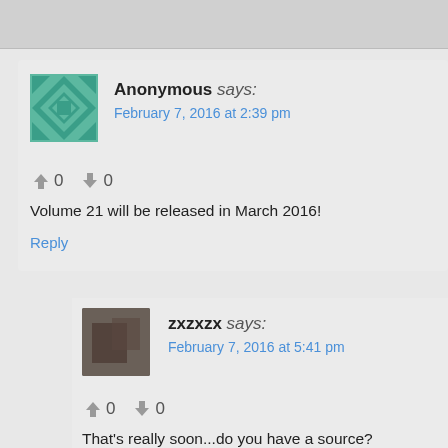[Figure (screenshot): Top gray bar partial screenshot element]
Anonymous says: February 7, 2016 at 2:39 pm
Volume 21 will be released in March 2016!
Reply
zxzxzx says: February 7, 2016 at 5:41 pm
That's really soon...do you have a source?